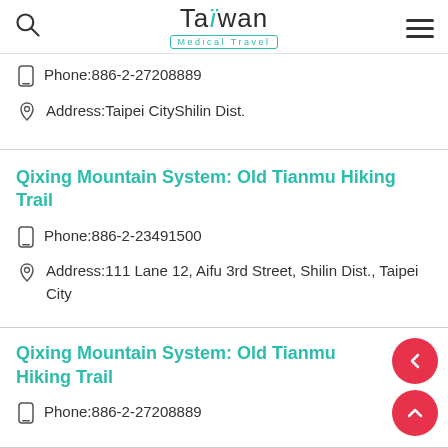Taiwan Medical Travel
Phone:886-2-27208889
Address:Taipei CityShilin Dist.
Qixing Mountain System: Old Tianmu Hiking Trail
Phone:886-2-23491500
Address:111 Lane 12, Aifu 3rd Street, Shilin Dist., Taipei City
Qixing Mountain System: Old Tianmu Hiking Trail
Phone:886-2-27208889